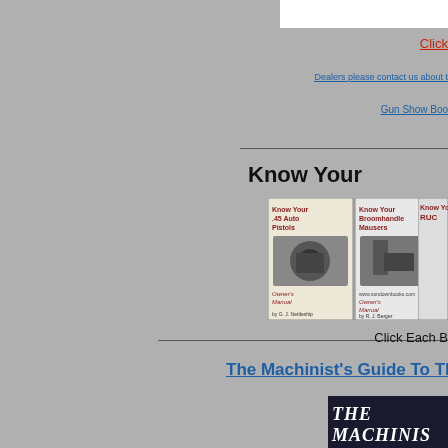Click
Dealers please contact us about t
Gun Show Boo
Know Your
[Figure (photo): Three book covers: 'Know Your .45 Auto Pistols Owner's Manual', 'Know Your Broomhandle Mausers Owner's Manual', and a partial third book 'Know Your RUC...']
Click Each B
The Machinist's Guide To The
[Figure (photo): The Machinist book cover image showing 'THE MACHINIS...' text on dark background]